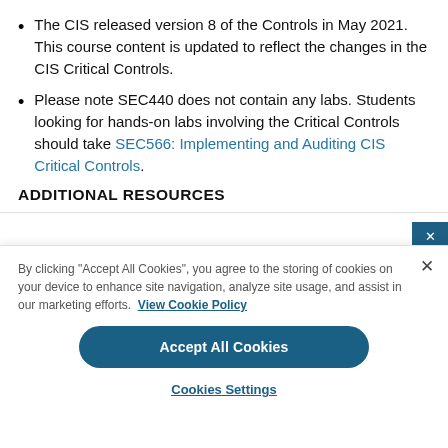The CIS released version 8 of the Controls in May 2021. This course content is updated to reflect the changes in the CIS Critical Controls.
Please note SEC440 does not contain any labs. Students looking for hands-on labs involving the Critical Controls should take SEC566: Implementing and Auditing CIS Critical Controls.
ADDITIONAL RESOURCES
By clicking "Accept All Cookies", you agree to the storing of cookies on your device to enhance site navigation, analyze site usage, and assist in our marketing efforts. View Cookie Policy
Accept All Cookies
Cookies Settings